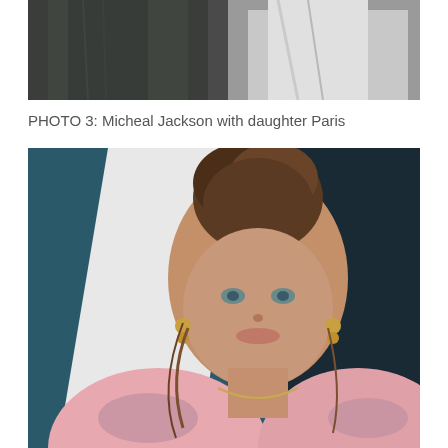[Figure (photo): Partial photo showing two people, cropped at top — dark clothing on left figure, white clothing on right figure. This is the bottom portion of a photo of Michael Jackson with daughter Paris.]
PHOTO 3: Micheal Jackson with daughter Paris
[Figure (photo): Close-up photo of Paris Jackson, a young woman with brown hair styled in an updo bun, blue-green eyes, wearing gold drop earrings and a light pink top, with tattoos visible on her shoulders and chest. Photographed against a dark teal and white background.]